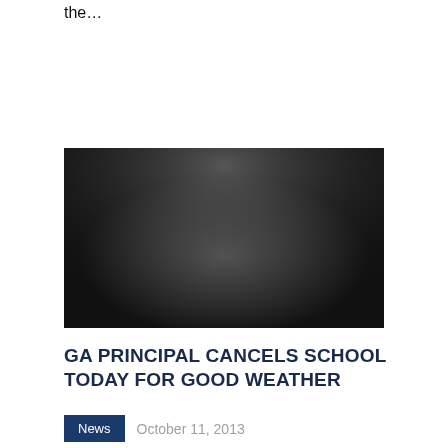the…
[Figure (photo): A dark, blurred photograph with gray tones, appearing to be an indistinct nighttime or low-light scene.]
GA PRINCIPAL CANCELS SCHOOL TODAY FOR GOOD WEATHER
News   October 11, 2013